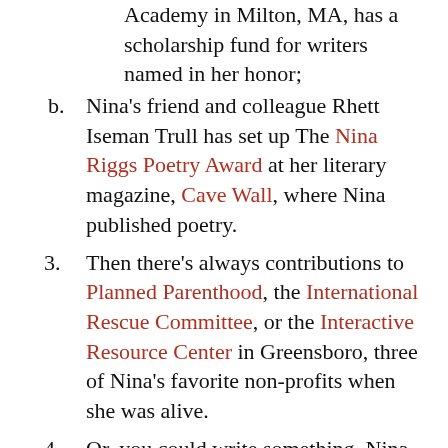Academy in Milton, MA, has a scholarship fund for writers named in her honor;
Nina's friend and colleague Rhett Iseman Trull has set up The Nina Riggs Poetry Award at her literary magazine, Cave Wall, where Nina published poetry.
Then there's always contributions to Planned Parenthood, the International Rescue Committee, or the Interactive Resource Center in Greensboro, three of Nina's favorite non-profits when she was alive.
Or, you could write something. Nina was a creative writing teacher, and she loved a good generative prompt as much as